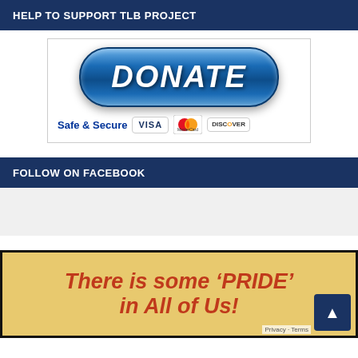HELP TO SUPPORT TLB PROJECT
[Figure (illustration): Donate button with blue pill-shaped gradient button showing 'DONATE' text, below it 'Safe & Secure' with VISA, MasterCard, and Discover credit card logos]
FOLLOW ON FACEBOOK
[Figure (screenshot): Facebook widget placeholder area (gray box)]
[Figure (illustration): Yellow/tan background promotional image with dark border and red italic bold text reading: There is some 'PRIDE' in All of Us!]